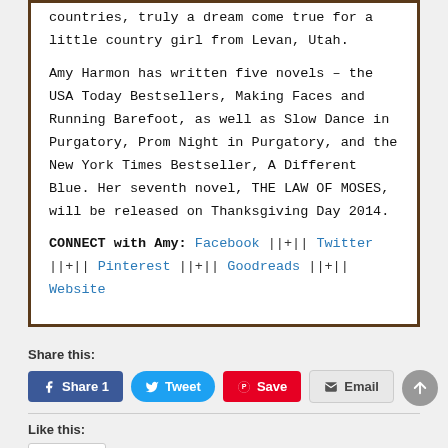countries, truly a dream come true for a little country girl from Levan, Utah.
Amy Harmon has written five novels – the USA Today Bestsellers, Making Faces and Running Barefoot, as well as Slow Dance in Purgatory, Prom Night in Purgatory, and the New York Times Bestseller, A Different Blue. Her seventh novel, THE LAW OF MOSES, will be released on Thanksgiving Day 2014.
CONNECT with Amy: Facebook ||+|| Twitter ||+|| Pinterest ||+|| Goodreads ||+|| Website
Share this:
[Figure (screenshot): Social share buttons: Share 1 (Facebook), Tweet (Twitter), Save (Pinterest), Email]
Like this:
Like
Be the first to like this.